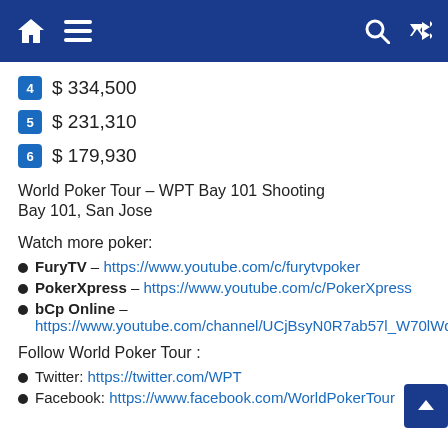Navigation bar with home, menu, search, and shuffle icons
4  $ 334,500
5  $ 231,310
6  $ 179,930
World Poker Tour – WPT Bay 101 Shooting
Bay 101, San Jose
Watch more poker:
FuryTV – https://www.youtube.com/c/furytvpoker
PokerXpress – https://www.youtube.com/c/PokerXpress
bCp Online – https://www.youtube.com/channel/UCjBsyN0R7ab57l_W70lWd5w
Follow World Poker Tour :
Twitter: https://twitter.com/WPT
Facebook: https://www.facebook.com/WorldPokerTour